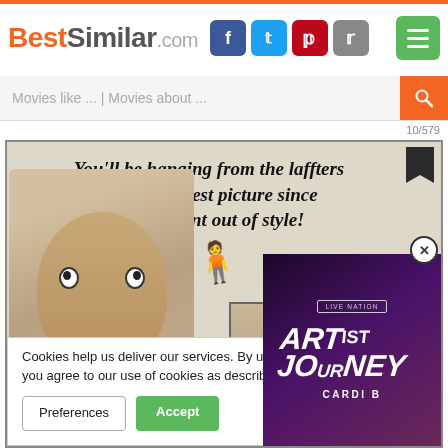BestSimilar.com
Movies like ... | Movies about ...
10/579
[Figure (photo): Movie poster screenshot showing text 'You'll be hanging from the laffters at the funniest picture since money went out of style!' with cartoon faces including a large face bottom-left, three actor faces top-right, and a hanging figure. Also shows a Live Nation advertisement overlay for 'Artist Journey' featuring Cardi B.]
Cookies help us deliver our services. By us... you agree to our use of cookies as describe...
Preferences
Accept